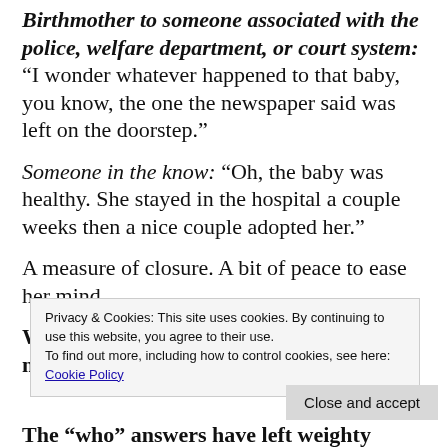Birthmother to someone associated with the police, welfare department, or court system: “I wonder whatever happened to that baby, you know, the one the newspaper said was left on the doorstep.”
Someone in the know: “Oh, the baby was healthy. She stayed in the hospital a couple weeks then a nice couple adopted her.”
A measure of closure. A bit of peace to ease her mind.
We go back to our regular, normal lives, my
Privacy & Cookies: This site uses cookies. By continuing to use this website, you agree to their use.
To find out more, including how to control cookies, see here:
Cookie Policy
Close and accept
The “who” answers have left weighty